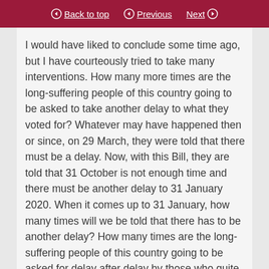Back to top  Previous  Next
I would have liked to conclude some time ago, but I have courteously tried to take many interventions. How many more times are the long-suffering people of this country going to be asked to take another delay to what they voted for? Whatever may have happened then or since, on 29 March, they were told that there must be a delay. Now, with this Bill, they are told that 31 October is not enough time and there must be another delay to 31 January 2020. When it comes up to 31 January, how many times will we be told that there has to be another delay? How many times are the long-suffering people of this country going to be asked for delay after delay by those who quite patently want only one thing?